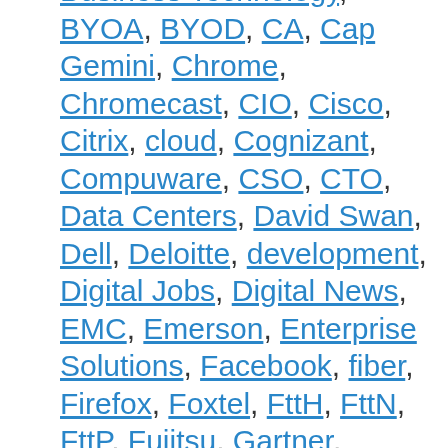Business Technology, BYOA, BYOD, CA, Cap Gemini, Chrome, Chromecast, CIO, Cisco, Citrix, cloud, Cognizant, Compuware, CSO, CTO, Data Centers, David Swan, Dell, Deloitte, development, Digital Jobs, Digital News, EMC, Emerson, Enterprise Solutions, Facebook, fiber, Firefox, Foxtel, FttH, FttN, FttP, Fujitsu, Gartner, Google, Google Nexus, Government, Grame Philipson, Hardware and Storage, HP, HTC, IBM, iiNet, Infosys, Intel, internet of things, Intuit, iot, iPad, iPhone, iphone 6, IT Jobs, IT News, Juniper, Kaspersky, LinkedIn, Linux, MacBook Air, MacBook Pro, Macintosh, McAfee, Microsoft, MYOB, NBN, NetApp, Netcomm, Netflix